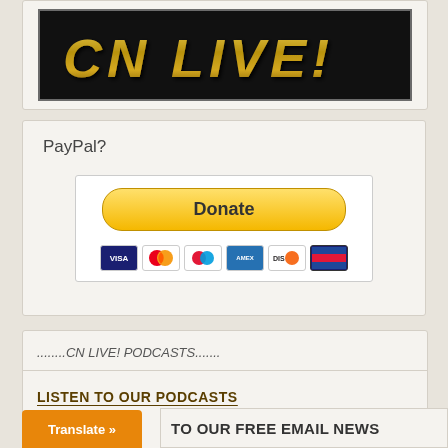[Figure (logo): CN LIVE! logo banner with gold metallic text on black background]
PayPal?
[Figure (other): PayPal Donate button with credit card icons (Visa, Mastercard, Maestro, Amex, Discover)]
........CN LIVE! PODCASTS.......
LISTEN TO OUR PODCASTS
Translate »
TO OUR FREE EMAIL NEWS